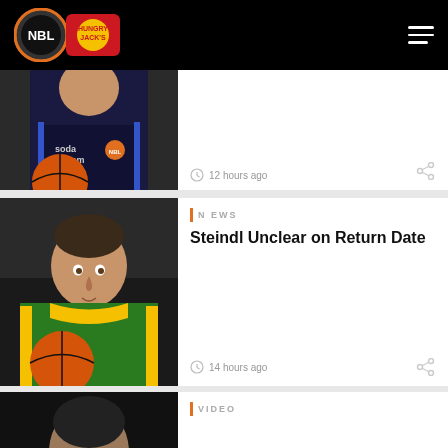NBL Hungry Jack's — navigation header
[Figure (photo): Basketball player in black soda stream jersey holding basketball, partially cropped]
12 hours ago
[Figure (photo): Basketball player in green and yellow jersey holding basketball, looking forward]
NEWS
Steindl Unclear on Return Date
14 hours ago
[Figure (photo): Basketball player partially visible at bottom of page, dark background]
VIDEO